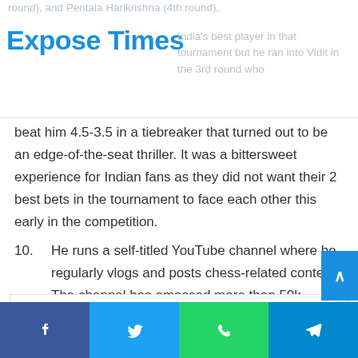round), and Pentala Harikrishna (4th round).
Expose Times
India's best player in that tournament but he ran into Vidit in the 3rd round who
beat him 4.5-3.5 in a tiebreaker that turned out to be an edge-of-the-seat thriller. It was a bittersweet experience for Indian fans as they did not want their 2 best bets in the tournament to face each other this early in the competition.
10. He runs a self-titled YouTube channel where he regularly vlogs and posts chess-related content. The channel has amassed more than 50k subscribers.
See also  Ruhi Chaturvedi Height, Weight, Age, Body Statistics, Biography, Family
Facebook Twitter WhatsApp Telegram